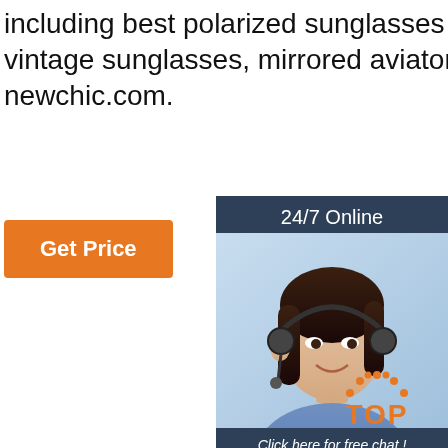including best polarized sunglasses for men, designer vintage sunglasses, mirrored aviator sunglasses mens in newchic.com.
[Figure (other): Orange 'Get Price' button on white background]
[Figure (other): 24/7 Online chat widget with photo of female customer service representative wearing headset, 'Click here for free chat!' text, and orange QUOTATION button]
[Figure (photo): Photo of aviator sunglasses on dark/black background with orange 'TOP' logo with dots in bottom right]
[Figure (logo): Orange TOP logo with decorative dots arc above the text]